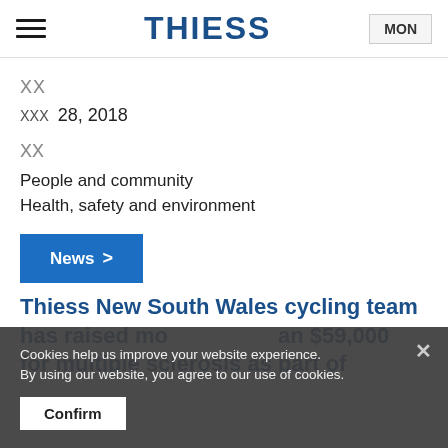THIESS | MON
[icon]
[icon] 28, 2018
[icon]
People and community
Health, safety and environment
News >
Thiess New South Wales cycling team has raised more than $59,000 for multiple sclerosis as part of
Cookies help us improve your website experience. By using our website, you agree to our use of cookies.
Confirm